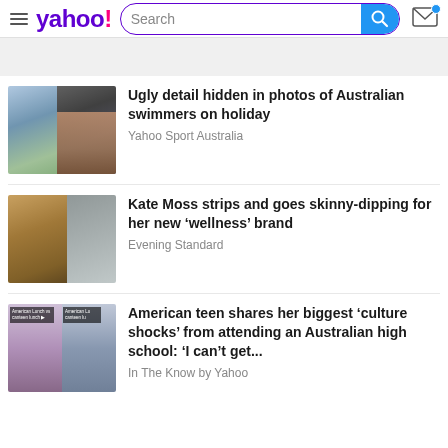yahoo! Search
[Figure (photo): Thumbnail of two people posing outdoors, a man and a woman]
Ugly detail hidden in photos of Australian swimmers on holiday
Yahoo Sport Australia
[Figure (photo): Thumbnail of a woman with wind-blown blonde hair and a waterfall scene]
Kate Moss strips and goes skinny-dipping for her new ‘wellness’ brand
Evening Standard
[Figure (screenshot): Thumbnail of a video still showing a teenage girl, with text overlay: American Lunch vs canteen lunch, American Lu canteen lu]
American teen shares her biggest ‘culture shocks’ from attending an Australian high school: ‘I can’t get...
In The Know by Yahoo